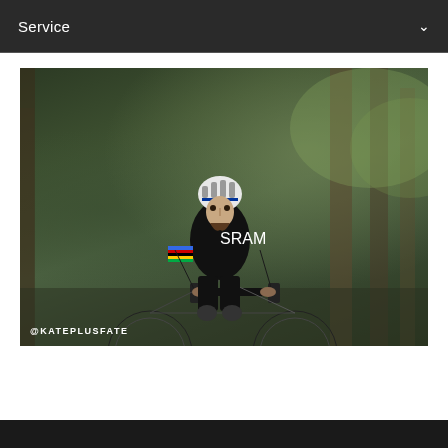Service
[Figure (photo): A female mountain bike racer wearing a SRAM team jersey and rainbow-striped champion's bands on her sleeves, riding a mountain bike through a forested trail. She wears a white and blue helmet with a Red Bull logo. Text overlay at bottom left reads @KATEPLUSFATE.]
@KATEPLUSFATE